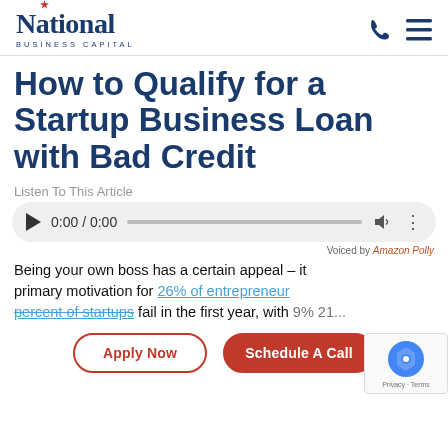National BUSINESS CAPITAL
How to Qualify for a Startup Business Loan with Bad Credit
Listen To This Article
[Figure (other): Audio player widget showing 0:00 / 0:00 with play button, progress bar, volume icon, and options icon. Voiced by Amazon Polly label below.]
Being your own boss has a certain appeal – it primary motivation for 26% of entrepreneurs percent of startups fail in the first year, with 9% 21...
Apply Now
Schedule A Call